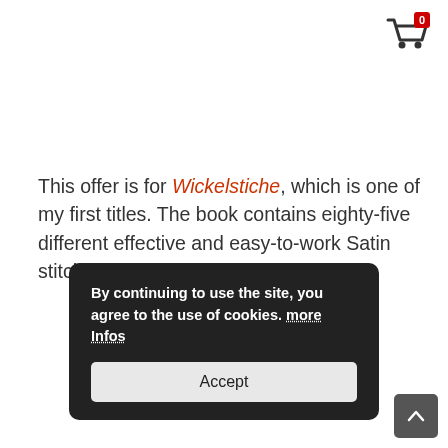[Figure (other): Shopping cart icon in dark gray with a red badge showing the number 0 in white, positioned in the top-right corner]
This offer is for Wickelstiche, which is one of my first titles. The book contains eighty-five different effective and easy-to-work Satin stitch patterns.
By continuing to use the site, you agree to the use of cookies. more Infos
Accept